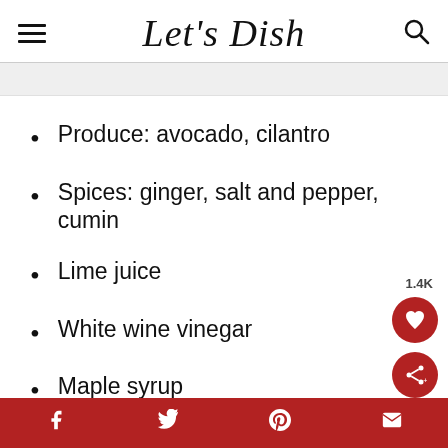Let's Dish
Produce: avocado, cilantro
Spices: ginger, salt and pepper, cumin
Lime juice
White wine vinegar
Maple syrup
f  t  p  mail